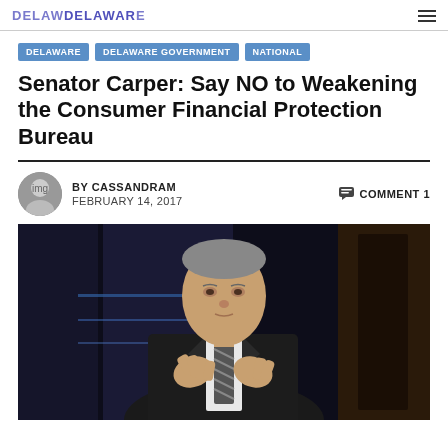DELAWAREDEAWARE (logo) with hamburger menu
DELAWARE
DELAWARE GOVERNMENT
NATIONAL
Senator Carper: Say NO to Weakening the Consumer Financial Protection Bureau
BY CASSANDRAM   COMMENT 1
FEBRUARY 14, 2017
[Figure (photo): A man in a dark suit with a striped tie gesturing with his hands, photographed against a dark blue/purple studio background.]